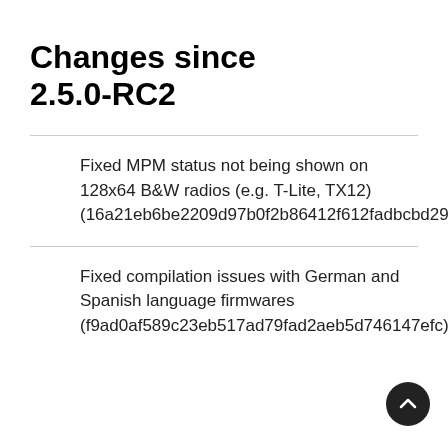Changes since 2.5.0-RC2
Fixed MPM status not being shown on 128x64 B&W radios (e.g. T-Lite, TX12) (16a21eb6be2209d97b0f2b86412f612fadbcbd29)
Fixed compilation issues with German and Spanish language firmwares (f9ad0af589c23eb517ad79fad2aeb5d746147efc)